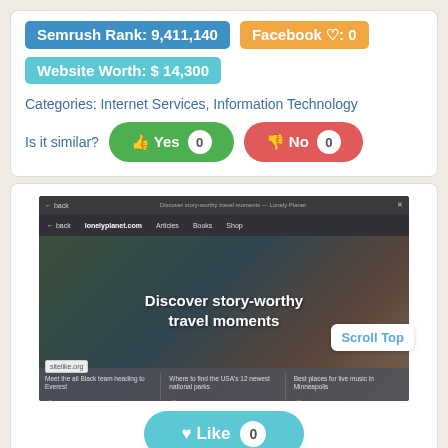Semrush Rank: 9,411,140
Facebook ♡: 0
Website Worth: $ 14,300
Categories: Internet Services, Information Technology
Is it similar? Yes 0 No 0
[Figure (screenshot): Screenshot of a travel website showing 'Discover story-worthy travel moments' headline with people hiking images and story cards below. URL watermark reads sitelike.org. A 'Scroll Top' button is visible on the right side.]
♥ Like 0